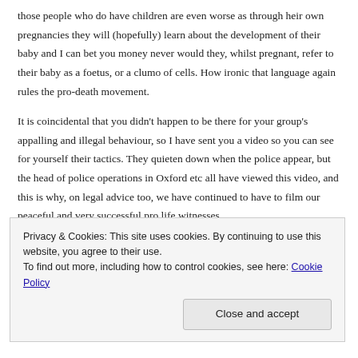those people who do have children are even worse as through heir own pregnancies they will (hopefully) learn about the development of their baby and I can bet you money never would they, whilst pregnant, refer to their baby as a foetus, or a clumo of cells. How ironic that language again rules the pro-death movement.
It is coincidental that you didn't happen to be there for your group's appalling and illegal behaviour, so I have sent you a video so you can see for yourself their tactics. They quieten down when the police appear, but the head of police operations in Oxford etc all have viewed this video, and this is why, on legal advice too, we have continued to have to film our peaceful and very successful pro life witnesses.
Privacy & Cookies: This site uses cookies. By continuing to use this website, you agree to their use.
To find out more, including how to control cookies, see here: Cookie Policy
Close and accept